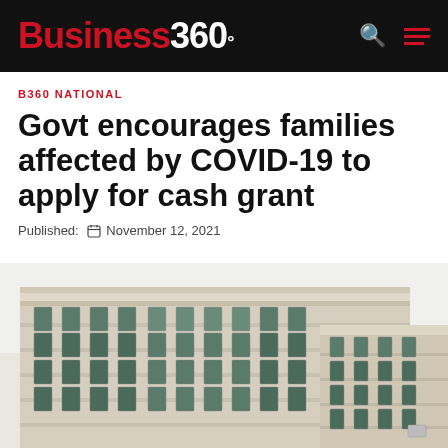Business 360°
B360 NATIONAL
Govt encourages families affected by COVID-19 to apply for cash grant
Published: November 12, 2021
[Figure (photo): Exterior view of a large multi-story classical/colonial style government or commercial building with ornate facade, multiple windows with shutters, and stone cladding, photographed from a low angle against a light sky.]